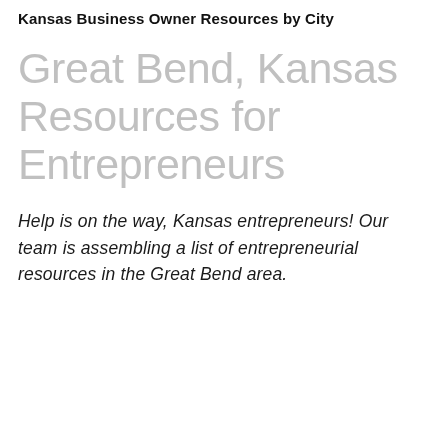Kansas Business Owner Resources by City
Great Bend, Kansas Resources for Entrepreneurs
Help is on the way, Kansas entrepreneurs! Our team is assembling a list of entrepreneurial resources in the Great Bend area.